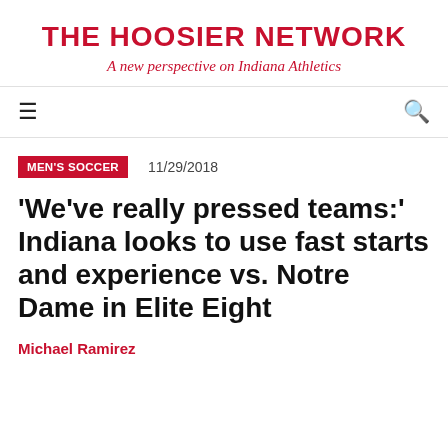THE HOOSIER NETWORK
A new perspective on Indiana Athletics
≡   🔍
MEN'S SOCCER   11/29/2018
'We've really pressed teams:' Indiana looks to use fast starts and experience vs. Notre Dame in Elite Eight
Michael Ramirez